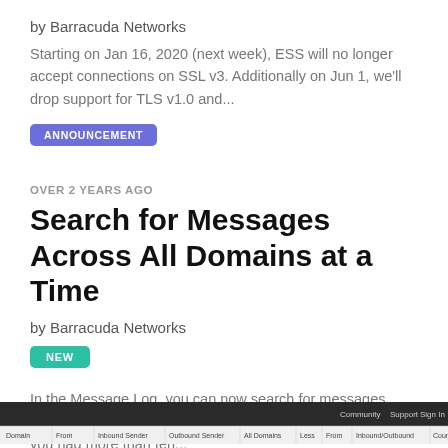by Barracuda Networks
Starting on Jan 16, 2020 (next week), ESS will no longer accept connections on SSL v3. Additionally on Jun 1, we'll drop support for TLS v1.0 and...
ANNOUNCEMENT
OVER 2 YEARS AGO
Search for Messages Across All Domains at a Time
by Barracuda Networks
NEW
In the Message Log, you can now search for messages across all the domains in your account, at a time. Earlier, if you had more than ten...
[Figure (screenshot): Screenshot of a web interface showing a dark navigation bar and a tab row with column headers]